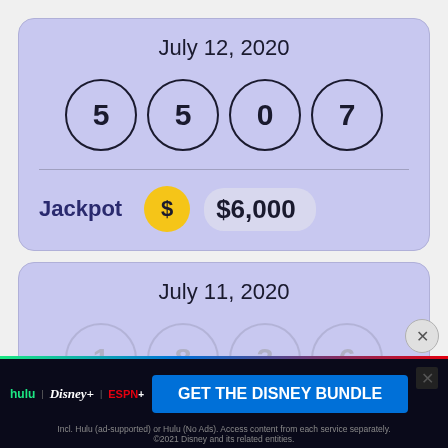July 12, 2020
[Figure (infographic): Four lottery balls showing numbers 5, 5, 0, 7 on a purple background card with Jackpot $6,000]
Jackpot $6,000
July 11, 2020
[Figure (infographic): Partially visible lottery balls showing numbers 1, 8, 3, 6 on a second purple card]
[Figure (infographic): Advertisement banner: GET THE DISNEY BUNDLE with Hulu, Disney+, ESPN+ logos. Incl. Hulu (ad-supported) or Hulu (No Ads). Access content from each service separately. ©2021 Disney and its related entities.]